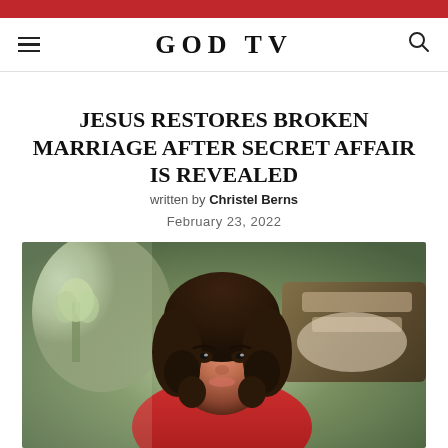GOD TV
JESUS RESTORES BROKEN MARRIAGE AFTER SECRET AFFAIR IS REVEALED
written by Christel Berns
February 23, 2022
[Figure (photo): A woman with curly dark hair wearing a red top, seated indoors with a bed and soft furnishings visible in the background.]